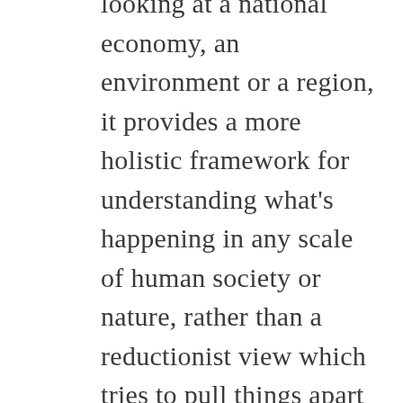looking at a national economy, an environment or a region, it provides a more holistic framework for understanding what's happening in any scale of human society or nature, rather than a reductionist view which tries to pull things apart into their components, to study the bits, and then reassemble the functioning system. That reductionist view has dominated science, and a lot of people think that's the only type of science. We've learned an enormous amount from it, but it has now got to the point where it's creating more blindness than insight. The balance of that, the more holistic ways of looking at things—of which systems theory is the